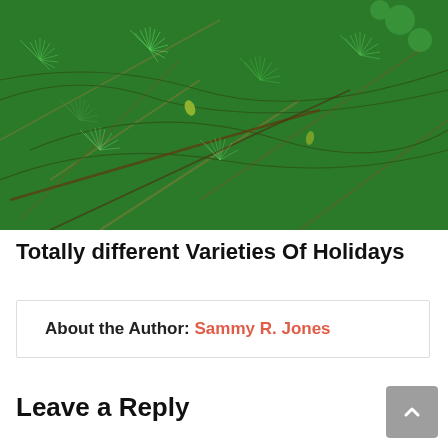[Figure (photo): Close-up photo of green pine/spruce tree branches with needles, showing dense evergreen foliage]
Totally different Varieties Of Holidays
About the Author: Sammy R. Jones
Leave a Reply